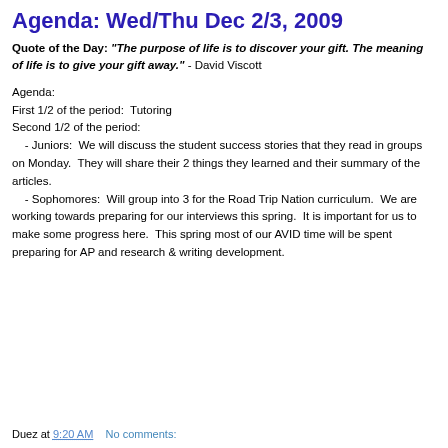Agenda: Wed/Thu Dec 2/3, 2009
Quote of the Day: "The purpose of life is to discover your gift. The meaning of life is to give your gift away." - David Viscott
Agenda:
First 1/2 of the period:  Tutoring
Second 1/2 of the period:
    - Juniors:  We will discuss the student success stories that they read in groups on Monday.  They will share their 2 things they learned and their summary of the articles.
    - Sophomores:  Will group into 3 for the Road Trip Nation curriculum.  We are working towards preparing for our interviews this spring.  It is important for us to make some progress here.  This spring most of our AVID time will be spent preparing for AP and research & writing development.
Duez at 9:20 AM    No comments: